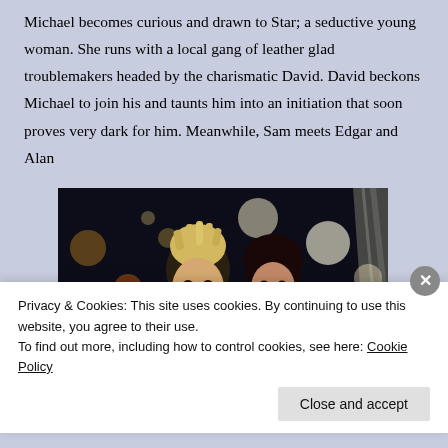Michael becomes curious and drawn to Star; a seductive young woman. She runs with a local gang of leather glad troublemakers headed by the charismatic David. David beckons Michael to join his and taunts him into an initiation that soon proves very dark for him. Meanwhile, Sam meets Edgar and Alan
[Figure (photo): A young blond man and a dark-haired young woman sitting together at night with bokeh lights in the background, from the movie The Lost Boys]
Privacy & Cookies: This site uses cookies. By continuing to use this website, you agree to their use.
To find out more, including how to control cookies, see here: Cookie Policy
Close and accept